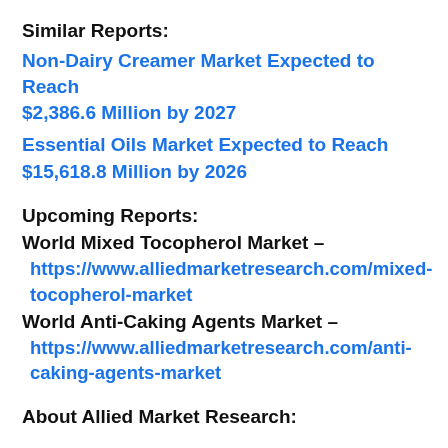Similar Reports:
Non-Dairy Creamer Market Expected to Reach $2,386.6 Million by 2027
Essential Oils Market Expected to Reach $15,618.8 Million by 2026
Upcoming Reports:
World Mixed Tocopherol Market – https://www.alliedmarketresearch.com/mixed-tocopherol-market
World Anti-Caking Agents Market – https://www.alliedmarketresearch.com/anti-caking-agents-market
About Allied Market Research: